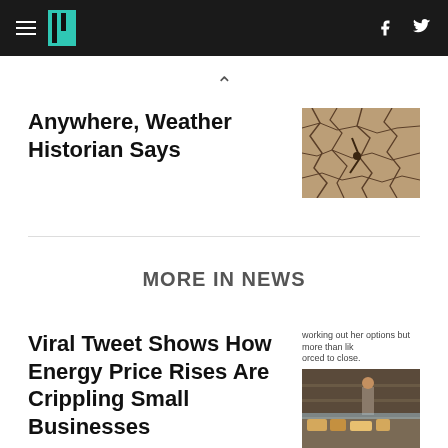HuffPost navigation bar with hamburger menu, logo, and social icons (Facebook, Twitter)
Anywhere, Weather Historian Says
[Figure (photo): Cracked dry earth / drought ground texture]
MORE IN NEWS
working out her options but more than likely forced to close.
Viral Tweet Shows How Energy Price Rises Are Crippling Small Businesses
[Figure (photo): Bakery / small business interior with food display counter]